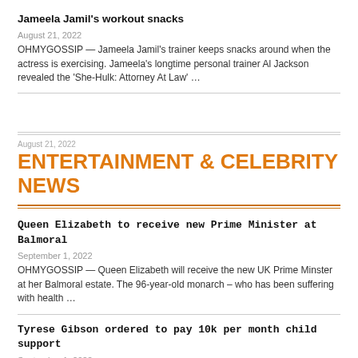Jameela Jamil's workout snacks
August 21, 2022
OHMYGOSSIP — Jameela Jamil's trainer keeps snacks around when the actress is exercising. Jameela's longtime personal trainer Al Jackson revealed the 'She-Hulk: Attorney At Law' …
ENTERTAINMENT & CELEBRITY NEWS
Queen Elizabeth to receive new Prime Minister at Balmoral
September 1, 2022
OHMYGOSSIP — Queen Elizabeth will receive the new UK Prime Minster at her Balmoral estate. The 96-year-old monarch – who has been suffering with health …
Tyrese Gibson ordered to pay 10k per month child support
September 1, 2022
OHMYGOSSIP — Tyrese Gibson has been ordered to pay his ex-wife $10,000 a month in child support. The 'Fast and